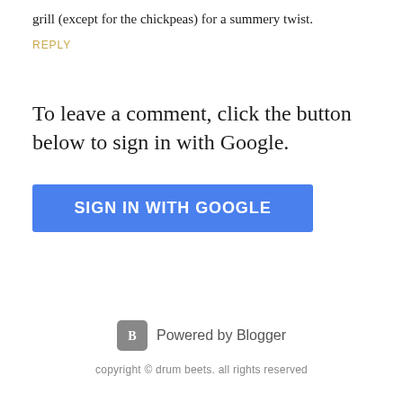grill (except for the chickpeas) for a summery twist.
REPLY
To leave a comment, click the button below to sign in with Google.
[Figure (other): Blue button labeled SIGN IN WITH GOOGLE]
Powered by Blogger
copyright © drum beets. all rights reserved